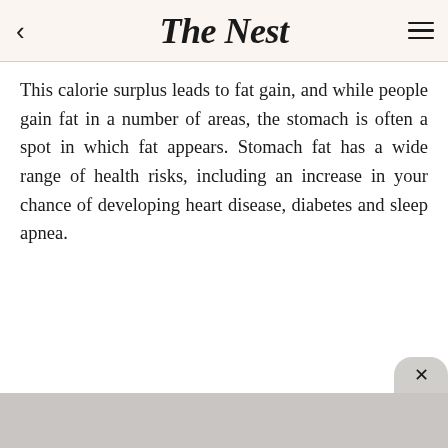The Nest
This calorie surplus leads to fat gain, and while people gain fat in a number of areas, the stomach is often a spot in which fat appears. Stomach fat has a wide range of health risks, including an increase in your chance of developing heart disease, diabetes and sleep apnea.